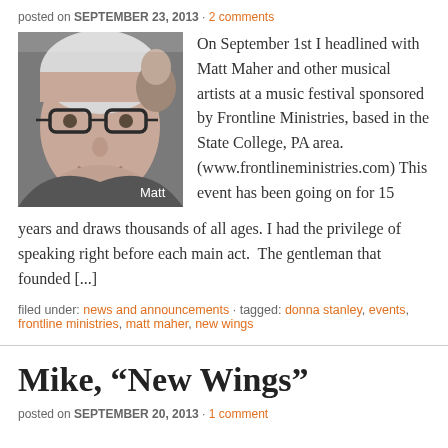posted on SEPTEMBER 23, 2013 · 2 comments
[Figure (photo): Close-up photo of a man with white/grey hair and black-rimmed glasses, with another person visible in the background. Label 'Matt' appears in the lower right of the image.]
On September 1st I headlined with Matt Maher and other musical artists at a music festival sponsored by Frontline Ministries, based in the State College, PA area. (www.frontlineministries.com) This event has been going on for 15 years and draws thousands of all ages. I had the privilege of speaking right before each main act. The gentleman that founded [...]
filed under: news and announcements · tagged: donna stanley, events, frontline ministries, matt maher, new wings
Mike, “New Wings”
posted on SEPTEMBER 20, 2013 · 1 comment